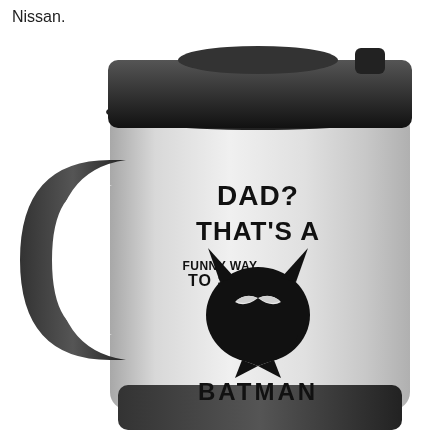Nissan.
[Figure (photo): A stainless steel travel mug with a black lid and handle. The mug has text and a Batman mask graphic printed on it. Text reads: 'DAD? THAT'S A FUNNY WAY TO SAY BATMAN' with a Batman mask silhouette in the center.]